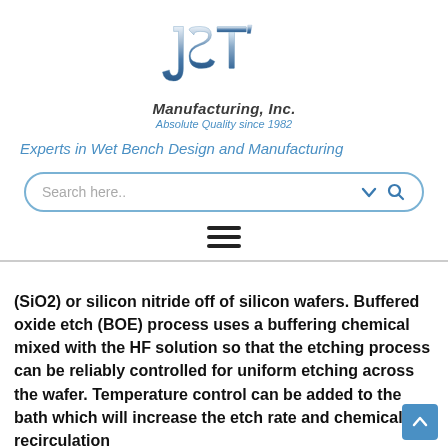[Figure (logo): JST Manufacturing, Inc. logo — stylized metallic 'JST' letters above the text 'Manufacturing, Inc.' and 'Absolute Quality since 1982']
Experts in Wet Bench Design and Manufacturing
[Figure (screenshot): Search bar with placeholder text 'Search here..' and a chevron/magnifier icon]
[Figure (other): Hamburger menu icon (three horizontal lines)]
(SiO2) or silicon nitride off of silicon wafers. Buffered oxide etch (BOE) process uses a buffering chemical mixed with the HF solution so that the etching process can be reliably controlled for uniform etching across the wafer. Temperature control can be added to the bath which will increase the etch rate and chemical recirculation